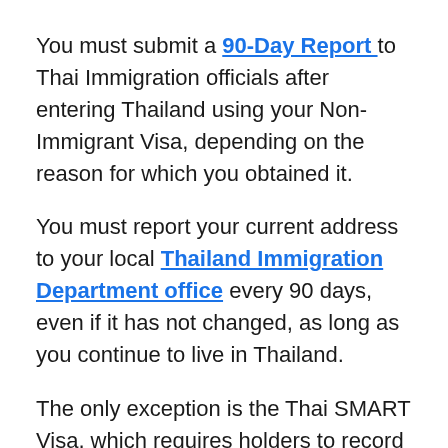You must submit a 90-Day Report to Thai Immigration officials after entering Thailand using your Non-Immigrant Visa, depending on the reason for which you obtained it.
You must report your current address to your local Thailand Immigration Department office every 90 days, even if it has not changed, as long as you continue to live in Thailand.
The only exception is the Thai SMART Visa, which requires holders to record their stay yearly rather than every 90 days.